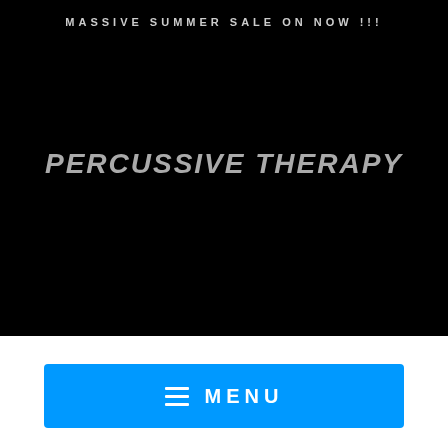MASSIVE SUMMER SALE ON NOW !!!
PERCUSSIVE THERAPY
[Figure (other): Blue MENU button with hamburger icon on white background]